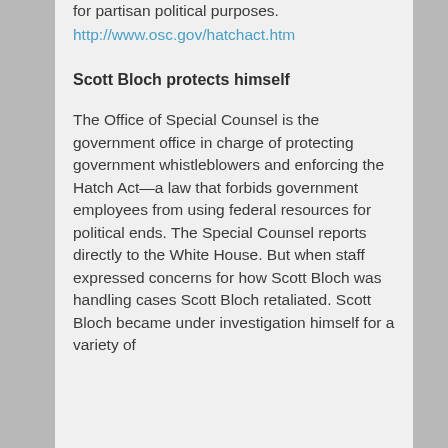for partisan political purposes. http://www.osc.gov/hatchact.htm
Scott Bloch protects himself
The Office of Special Counsel is the government office in charge of protecting government whistleblowers and enforcing the Hatch Act—a law that forbids government employees from using federal resources for political ends. The Special Counsel reports directly to the White House. But when staff expressed concerns for how Scott Bloch was handling cases Scott Bloch retaliated. Scott Bloch became under investigation himself for a variety of